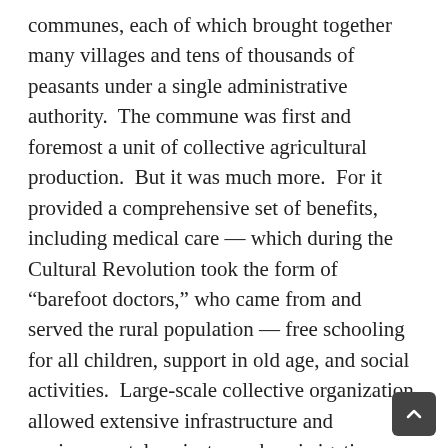communes, each of which brought together many villages and tens of thousands of peasants under a single administrative authority.  The commune was first and foremost a unit of collective agricultural production.  But it was much more.  For it provided a comprehensive set of benefits, including medical care — which during the Cultural Revolution took the form of “barefoot doctors,” who came from and served the rural population — free schooling for all children, support in old age, and social activities.  Large-scale collective organization allowed extensive infrastructure and environmental projects, such as irrigation works, fish ponds, opening of new land, and forestry.  It also laid the basis for small “sideline industries,” which provided agricultural and consumer goods, and work in slow seasons.  Above all, the communes completely eliminated the old landlord system, took the “sink or swim” pressure off individual families, and allowed all peasants — men and women — a high degree of equality in deciding the distribution of their collective